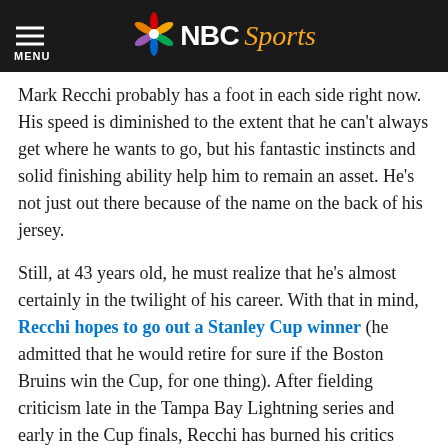NBC Sports
Mark Recchi probably has a foot in each side right now. His speed is diminished to the extent that he can't always get where he wants to go, but his fantastic instincts and solid finishing ability help him to remain an asset. He's not just out there because of the name on the back of his jersey.
Still, at 43 years old, he must realize that he's almost certainly in the twilight of his career. With that in mind, Recchi hopes to go out a Stanley Cup winner (he admitted that he would retire for sure if the Boston Bruins win the Cup, for one thing). After fielding criticism late in the Tampa Bay Lightning series and early in the Cup finals, Recchi has burned his critics once again, scoring a goal in Game 2, two goals in Game 3 and collecting three assists in Game 6. That works out to a point per game